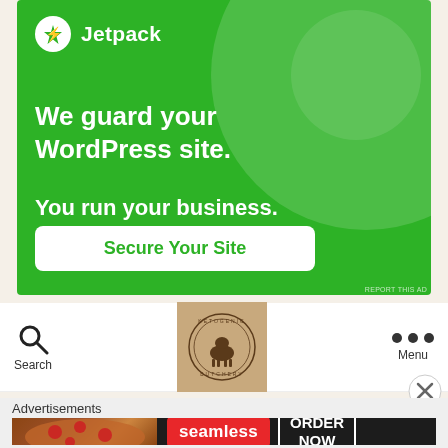[Figure (infographic): Jetpack advertisement banner with green background, large decorative circles, Jetpack logo, tagline 'We guard your WordPress site. You run your business.' and a 'Secure Your Site' call-to-action button]
[Figure (logo): Ketogenic Butchery circular logo with a cow/animal silhouette on a beige/kraft paper background]
Search
Menu
Advertisements
[Figure (infographic): Seamless food delivery advertisement with pizza image, seamless logo in red pill, and 'ORDER NOW' button in white border box on dark background]